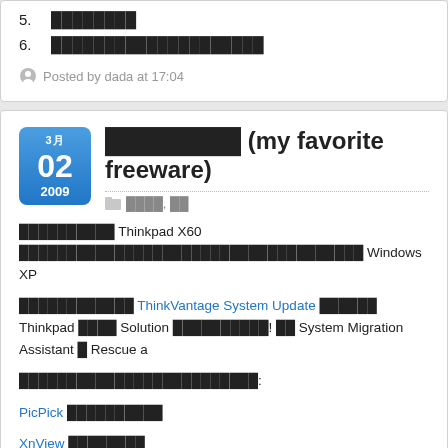5. ████████
6. ████████████████████
Posted by dada at 17:04
████████ (my favorite freeware)
████, ██
██████████ Thinkpad X60 ████████████████████████████████████ Windows XP
████████████ ThinkVantage System Update ██████ Thinkpad ████ Solution ██████████! ██ System Migration Assistant █ Rescue a
█████████████████████████:
PicPick ██████████
XnView ████████